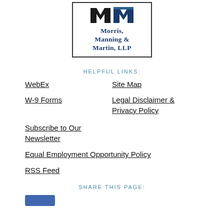[Figure (logo): Morris, Manning & Martin, LLP law firm logo with stylized M lettermark in navy/black and serif firm name text]
HELPFUL LINKS:
WebEx
Site Map
W-9 Forms
Legal Disclaimer & Privacy Policy
Subscribe to Our Newsletter
Equal Employment Opportunity Policy
RSS Feed
SHARE THIS PAGE:
[Figure (other): Social media share button (partially visible, blue Facebook-style button)]